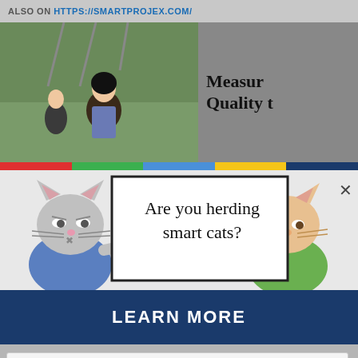ALSO ON HTTPS://SMARTPROJEX.COM/
[Figure (screenshot): Two thumbnail images: left shows a girl on playground equipment, right shows partial text 'Measure Quality t' on brown/tan background]
[Figure (illustration): Two cartoon cat characters holding a sign. Left cat is gray wearing blue shirt, right cat is tan/orange wearing green shirt with arm raised. Sign reads 'Are you herding smart cats?' with a close (X) button in top right corner. Blue banner at bottom says LEARN MORE.]
Are you herding smart cats?
LEARN MORE
Start the discussion...
LOG IN WITH